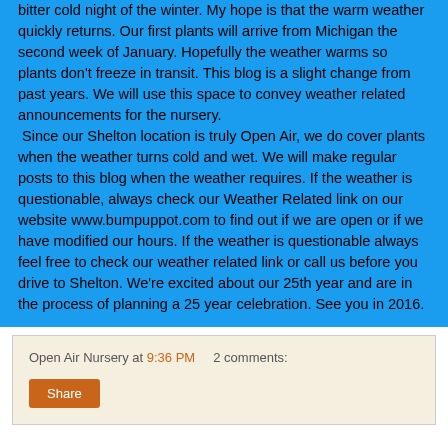bitter cold night of the winter. My hope is that the warm weather quickly returns. Our first plants will arrive from Michigan the second week of January. Hopefully the weather warms so plants don't freeze in transit. This blog is a slight change from past years. We will use this space to convey weather related announcements for the nursery. Since our Shelton location is truly Open Air, we do cover plants when the weather turns cold and wet. We will make regular posts to this blog when the weather requires. If the weather is questionable, always check our Weather Related link on our website www.bumpuppot.com to find out if we are open or if we have modified our hours. If the weather is questionable always feel free to check our weather related link or call us before you drive to Shelton. We're excited about our 25th year and are in the process of planning a 25 year celebration. See you in 2016.
Open Air Nursery at 9:36 PM   2 comments:
Share